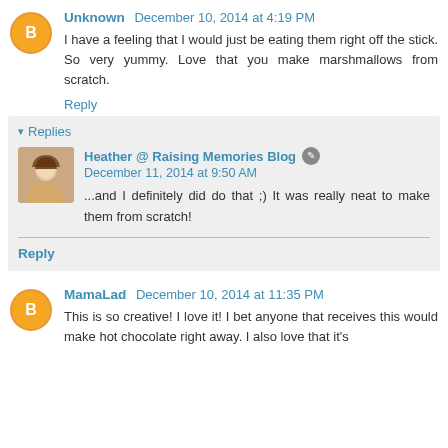Unknown  December 10, 2014 at 4:19 PM
I have a feeling that I would just be eating them right off the stick. So very yummy. Love that you make marshmallows from scratch.
Reply
Replies
Heather @ Raising Memories Blog  December 11, 2014 at 9:50 AM
...and I definitely did do that ;) It was really neat to make them from scratch!
Reply
MamaLad  December 10, 2014 at 11:35 PM
This is so creative! I love it! I bet anyone that receives this would make hot chocolate right away. I also love that it's